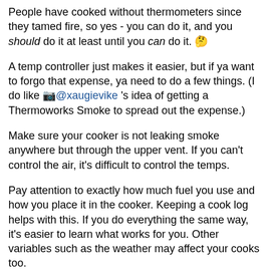People have cooked without thermometers since they tamed fire, so yes - you can do it, and you should do it at least until you can do it. 🤔
A temp controller just makes it easier, but if ya want to forgo that expense, ya need to do a few things. (I do like 📷 @xaugievike 's idea of getting a Thermoworks Smoke to spread out the expense.)
Make sure your cooker is not leaking smoke anywhere but through the upper vent. If you can't control the air, it's difficult to control the temps.
Pay attention to exactly how much fuel you use and how you place it in the cooker. Keeping a cook log helps with this. If you do everything the same way, it's easier to learn what works for you. Other variables such as the weather may affect your cooks too.
Pay attention to the meat too. The larger a hunk o' meat is, the longer it will take to get to your desired temp. I know that's obvious, but if you can dial in a 1.5" thick steak, (for instance), you will have an idea of when a thicker or thinner steak will be done.
And don't chase temps. Some rise and fall is normal, and most things can turn out great over a fairly wide range of temps. If the temp doesn't settle, and keeps rising or falling, then make